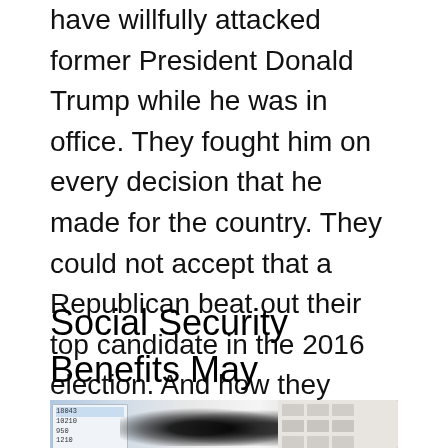have willfully attacked former President Donald Trump while he was in office. They fought him on every decision that he made for the country. They could not accept that a Republican beat out their top candidate in the 2016 election. And how they attacked the man shows how [â€¦]
Social Security Benefits May Decrease
[Figure (photo): Photo showing eyeglasses resting on a financial ledger/document next to a calculator keyboard, suggesting financial or accounting context.]